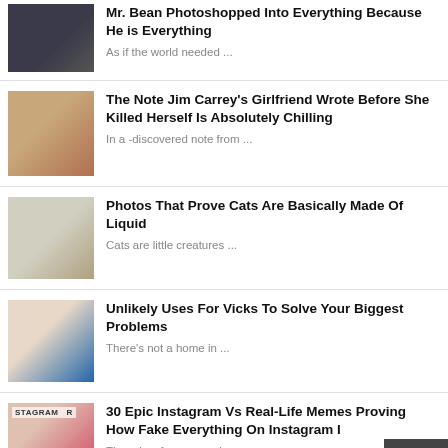Mr. Bean Photoshopped Into Everything Because He is Everything — As if the world needed ...
The Note Jim Carrey's Girlfriend Wrote Before She Killed Herself Is Absolutely Chilling — In a -discovered note from ...
Photos That Prove Cats Are Basically Made Of Liquid — Cats are little creatures ...
Unlikely Uses For Vicks To Solve Your Biggest Problems — There's not a home in ...
30 Epic Instagram Vs Real-Life Memes Proving How Fake Everything On Instagram Is — There is a famous saying ...
Shocking Photos of Celebrities Before and After...